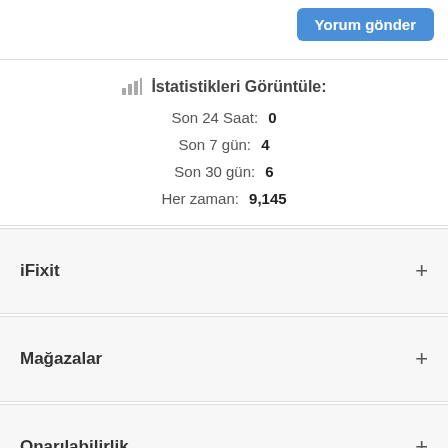Yorum gönder
İstatistikleri Görüntüle:
Son 24 Saat:  0
Son 7 gün:  4
Son 30 gün:  6
Her zaman:  9,145
iFixit
Mağazalar
Onarılabilirlik